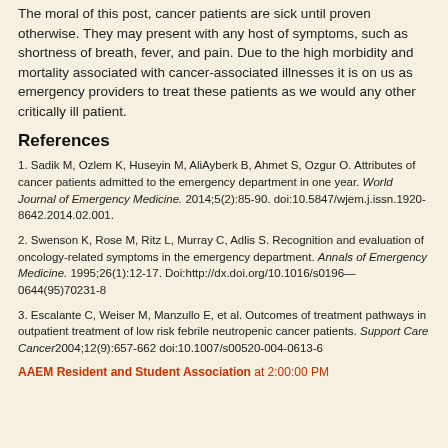The moral of this post, cancer patients are sick until proven otherwise. They may present with any host of symptoms, such as shortness of breath, fever, and pain. Due to the high morbidity and mortality associated with cancer-associated illnesses it is on us as emergency providers to treat these patients as we would any other critically ill patient.
References
1. Sadik M, Ozlem K, Huseyin M, AliAyberk B, Ahmet S, Ozgur O. Attributes of cancer patients admitted to the emergency department in one year. World Journal of Emergency Medicine. 2014;5(2):85-90. doi:10.5847/wjem.j.issn.1920-8642.2014.02.001.
2. Swenson K, Rose M, Ritz L, Murray C, Adlis S. Recognition and evaluation of oncology-related symptoms in the emergency department. Annals of Emergency Medicine. 1995;26(1):12-17. Doi:http://dx.doi.org/10.1016/s0196—0644(95)70231-8
3. Escalante C, Weiser M, Manzullo E, et al. Outcomes of treatment pathways in outpatient treatment of low risk febrile neutropenic cancer patients. Support Care Cancer2004;12(9):657-662 doi:10.1007/s00520-004-0613-6
AAEM Resident and Student Association at 2:00:00 PM